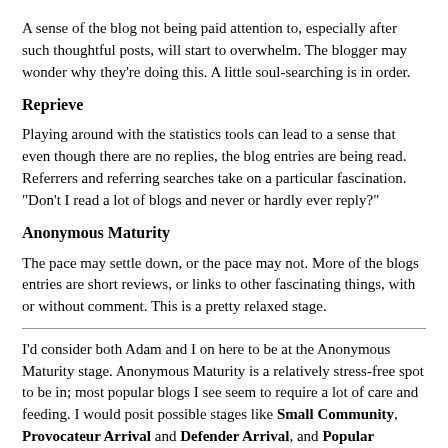A sense of the blog not being paid attention to, especially after such thoughtful posts, will start to overwhelm. The blogger may wonder why they're doing this. A little soul-searching is in order.
Reprieve
Playing around with the statistics tools can lead to a sense that even though there are no replies, the blog entries are being read. Referrers and referring searches take on a particular fascination. "Don't I read a lot of blogs and never or hardly ever reply?"
Anonymous Maturity
The pace may settle down, or the pace may not. More of the blogs entries are short reviews, or links to other fascinating things, with or without comment. This is a pretty relaxed stage.
I'd consider both Adam and I on here to be at the Anonymous Maturity stage. Anonymous Maturity is a relatively stress-free spot to be in; most popular blogs I see seem to require a lot of care and feeding. I would posit possible stages like Small Community, Provocateur Arrival and Defender Arrival, and Popular Maturity, but then I'd, well, have to do some actual research :)